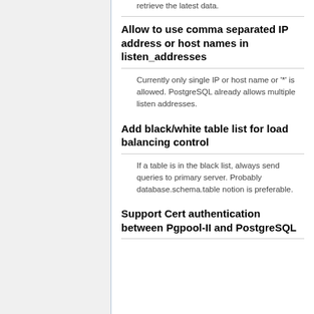retrieve the latest data.
Allow to use comma separated IP address or host names in listen_addresses
Currently only single IP or host name or '*' is allowed. PostgreSQL already allows multiple listen addresses.
Add black/white table list for load balancing control
If a table is in the black list, always send queries to primary server. Probably database.schema.table notion is preferable.
Support Cert authentication between Pgpool-II and PostgreSQL